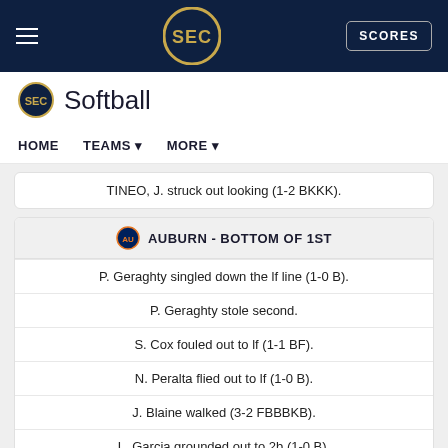SEC Softball — HOME | TEAMS | MORE | SCORES
Softball
TINEO, J. struck out looking (1-2 BKKK).
AUBURN - BOTTOM OF 1ST
P. Geraghty singled down the lf line (1-0 B).
P. Geraghty stole second.
S. Cox fouled out to lf (1-1 BF).
N. Peralta flied out to lf (1-0 B).
J. Blaine walked (3-2 FBBBKB).
L. Garcia grounded out to 2b (1-0 B).
NC A&T - TOP OF 2ND